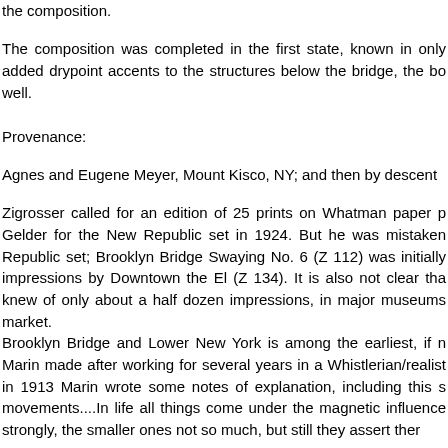the composition.
The composition was completed in the first state, known in only added drypoint accents to the structures below the bridge, the bo well.
Provenance:
Agnes and Eugene Meyer, Mount Kisco, NY; and then by descent
Zigrosser called for an edition of 25 prints on Whatman paper p Gelder for the New Republic set in 1924. But he was mistaken Republic set; Brooklyn Bridge Swaying No. 6 (Z 112) was initially impressions by Downtown the El (Z 134). It is also not clear tha knew of only about a half dozen impressions, in major museums market.
Brooklyn Bridge and Lower New York is among the earliest, if n Marin made after working for several years in a Whistlerian/realist in 1913 Marin wrote some notes of explanation, including this s movements....In life all things come under the magnetic influence strongly, the smaller ones not so much, but still they assert ther